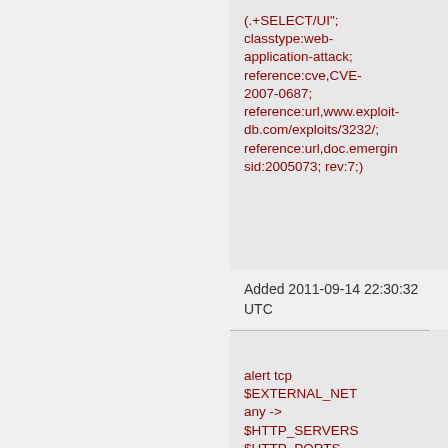(.+SELECT/UI"; classtype:web-application-attack; reference:cve,CVE-2007-0687; reference:url,www.exploit-db.com/exploits/3232/; reference:url,doc.emergin sid:2005073; rev:7;)
Added 2011-09-14 22:30:32 UTC
alert tcp $EXTERNAL_NET any -> $HTTP_SERVERS $HTTP_PORTS (msg:"ET WEB_SPECIFIC_APPS